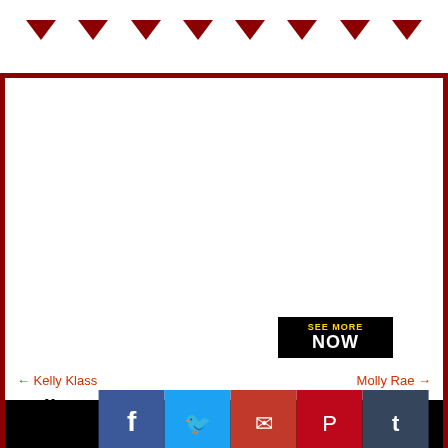Navigation header with triangles
[Figure (screenshot): Empty white content area with a 'SEE MORE NOW' button in black/yellow at bottom right]
← Kelly Klass    Molly Rae →
Molly Rae
[Figure (infographic): Social sharing buttons: Facebook, Twitter, Email, Pinterest, Tumblr, Reddit, Blogger, WordPress, VK, More]
[Figure (photo): Black image area at bottom]